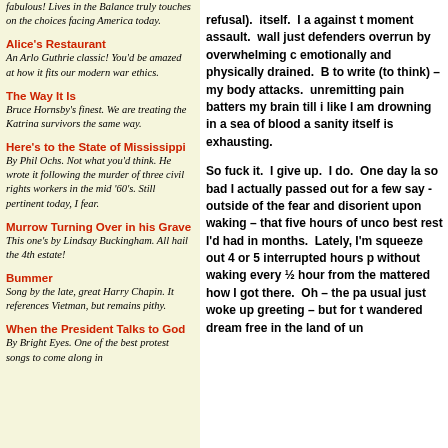fabulous! Lives in the Balance truly touches on the choices facing America today.
Alice's Restaurant
An Arlo Guthrie classic! You'd be amazed at how it fits our modern war ethics.
The Way It Is
Bruce Hornsby's finest. We are treating the Katrina survivors the same way.
Here's to the State of Mississippi
By Phil Ochs. Not what you'd think. He wrote it following the murder of three civil rights workers in the mid '60's. Still pertinent today, I fear.
Murrow Turning Over in his Grave
This one's by Lindsay Buckingham. All hail the 4th estate!
Bummer
Song by the late, great Harry Chapin. It references Vietman, but remains pithy.
When the President Talks to God
By Bright Eyes. One of the best protest songs to come along in
refusal). itself.  I a against t moment assault. wall just defenders overrun by overwhelming c emotionally and physically drained.  B to write (to think) – my body attacks. unremitting pain batters my brain till i like I am drowning in a sea of blood a sanity itself is exhausting.
So fuck it.  I give up.  I do.  One day la so bad I actually passed out for a few say - outside of the fear and disorient upon waking – that five hours of unco best rest I'd had in months.  Lately, I'm squeeze out 4 or 5 interrupted hours p without waking every ½ hour from the mattered how I got there.  Oh – the pa usual just woke up greeted – but for t wandered dream free in the land of un